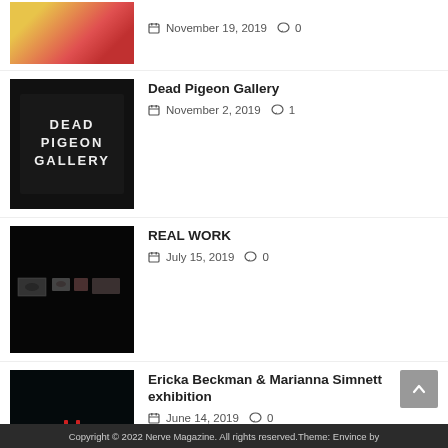November 19, 2019  0
Dead Pigeon Gallery
November 2, 2019  1
REAL WORK
July 15, 2019  0
Ericka Beckman & Marianna Simnett exhibition
June 14, 2019  0
Copyright © 2022 Nerve Magazine. All rights reserved.Theme: Envince by